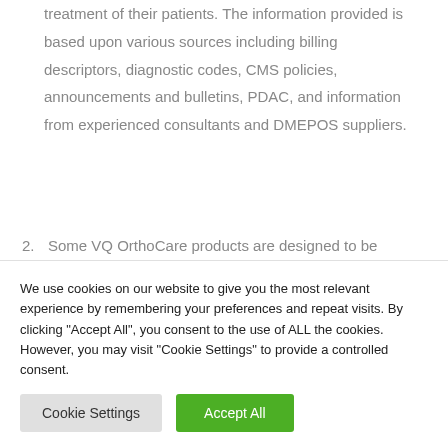judgement to utilize and bill for products in the treatment of their patients. The information provided is based upon various sources including billing descriptors, diagnostic codes, CMS policies, announcements and bulletins, PDAC, and information from experienced consultants and DMEPOS suppliers.
2. Some VQ OrthoCare products are designed to be modified significantly by a trained healthcare...
We use cookies on our website to give you the most relevant experience by remembering your preferences and repeat visits. By clicking "Accept All", you consent to the use of ALL the cookies. However, you may visit "Cookie Settings" to provide a controlled consent.